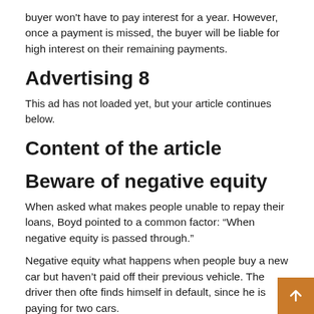buyer won't have to pay interest for a year. However, once a payment is missed, the buyer will be liable for high interest on their remaining payments.
Advertising 8
This ad has not loaded yet, but your article continues below.
Content of the article
Beware of negative equity
When asked what makes people unable to repay their loans, Boyd pointed to a common factor: “When negative equity is passed through.”
Negative equity what happens when people buy a new car but haven’t paid off their previous vehicle. The driver then ofte finds himself in default, since he is paying for two cars.